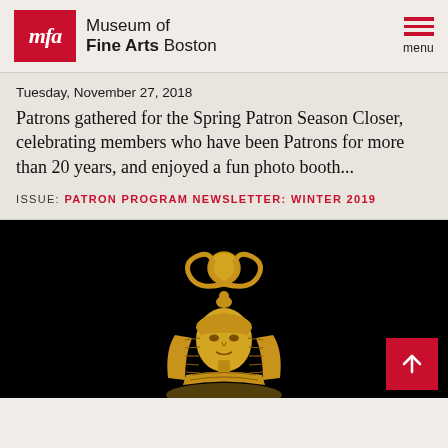Museum of Fine Arts Boston
Tuesday, November 27, 2018
Patrons gathered for the Spring Patron Season Closer, celebrating members who have been Patrons for more than 20 years, and enjoyed a fun photo booth...
ISSUE: PATRON PROGRAM NEWSLETTER: WINTER 2019
[Figure (photo): Gold Egyptian artifact/statuette of a deity wearing a headdress with horns and sun disk, photographed against a black background]